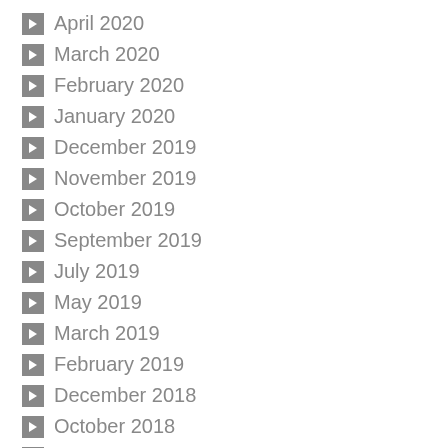April 2020
March 2020
February 2020
January 2020
December 2019
November 2019
October 2019
September 2019
July 2019
May 2019
March 2019
February 2019
December 2018
October 2018
September 2018
July 2018